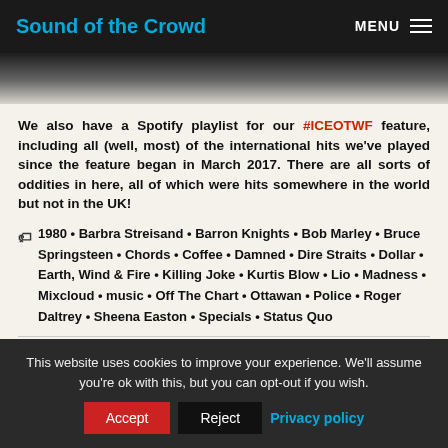Sound of the Crowd | MENU
We also have a Spotify playlist for our #ICEOTWF feature, including all (well, most) of the international hits we've played since the feature began in March 2017. There are all sorts of oddities in here, all of which were hits somewhere in the world but not in the UK!
1980 • Barbra Streisand • Barron Knights • Bob Marley • Bruce Springsteen • Chords • Coffee • Damned • Dire Straits • Dollar • Earth, Wind & Fire • Killing Joke • Kurtis Blow • Lio • Madness • Mixcloud • music • Off The Chart • Ottawan • Police • Roger Daltrey • Sheena Easton • Specials • Status Quo
Off The Chart: 26 March 1983
Ditch the modern world for a couple
This website uses cookies to improve your experience. We'll assume you're ok with this, but you can opt-out if you wish.